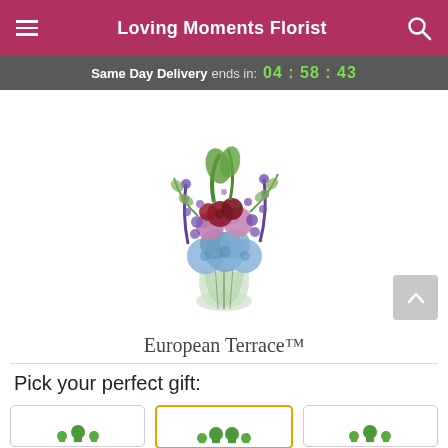Loving Moments Florist
Same Day Delivery ends in: 04 : 58 : 43
[Figure (photo): A floral arrangement in a clear glass vase featuring blue hydrangeas, pink/lavender roses, dark red carnations, purple delphinium, and green foliage]
European Terrace™
Pick your perfect gift:
[Figure (other): Three gift size selector boxes — left unselected, center selected with orange border, right unselected — each showing small green flower/plant icons]